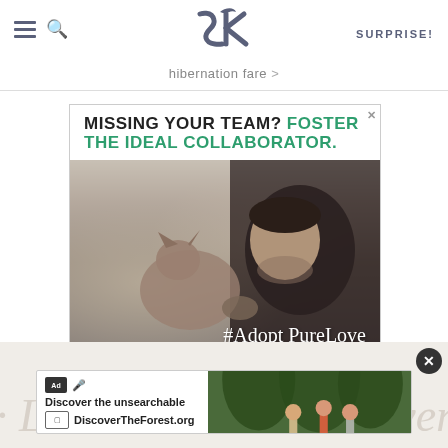SK — hibernation fare > SURPRISE!
[Figure (screenshot): Advertisement for The Shelter Pet Project: 'MISSING YOUR TEAM? FOSTER THE IDEAL COLLABORATOR.' with photo of man and tabby cat, #AdoptPureLove hashtag, logos, and THESHELTERPETPROJECT.ORG]
[Figure (screenshot): Bottom banner ad: 'Discover the unsearchable / DiscoverTheForest.org' with forest photo and Ad/USFS shield badges, close button]
Le... over (watermark text partially visible)